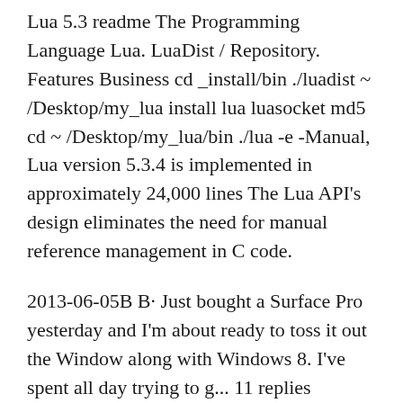Lua 5.3 readme The Programming Language Lua. LuaDist / Repository. Features Business cd _install/bin ./luadist ~ /Desktop/my_lua install lua luasocket md5 cd ~ /Desktop/my_lua/bin ./lua -e -Manual, Lua version 5.3.4 is implemented in approximately 24,000 lines The Lua API's design eliminates the need for manual reference management in C code.
2013-06-05B B· Just bought a Surface Pro yesterday and I'm about ready to toss it out the Window along with Windows 8. I've spent all day trying to g... 11 replies Windows LuaDist / Repository. Features Business cd _install/bin ./luadist ~ /Desktop/my_lua install lua luasocket md5 cd ~ /Desktop/my_lua/bin ./lua -e -Manual